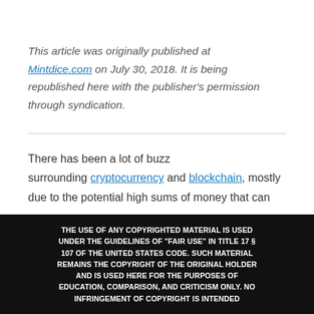This article was originally published at Mintdice.com on July 30, 2018. It is being republished here with the publisher's permission through syndication.
There has been a lot of buzz surrounding cryptocurrency and blockchain, mostly due to the potential high sums of money that can
THE USE OF ANY COPYRIGHTED MATERIAL IS USED UNDER THE GUIDELINES OF "FAIR USE" IN TITLE 17 § 107 OF THE UNITED STATES CODE. SUCH MATERIAL REMAINS THE COPYRIGHT OF THE ORIGINAL HOLDER AND IS USED HERE FOR THE PURPOSES OF EDUCATION, COMPARISON, AND CRITICISM ONLY. NO INFRINGEMENT OF COPYRIGHT IS INTENDED